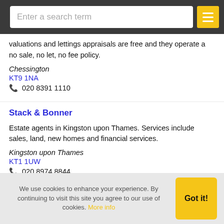Enter a search term
valuations and lettings appraisals are free and they operate a no sale, no let, no fee policy.
Chessington
KT9 1NA
020 8391 1110
Stack & Bonner
Estate agents in Kingston upon Thames. Services include sales, land, new homes and financial services.
Kingston upon Thames
KT1 1UW
020 8974 8844
We use cookies to enhance your experience. By continuing to visit this site you agree to our use of cookies. More info